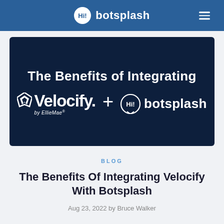botsplash
[Figure (illustration): Dark navy banner image with white text 'The Benefits of Integrating' above the Velocify by EllieMae logo plus botsplash logo]
BLOG
The Benefits Of Integrating Velocify With Botsplash
Aug 23, 2022 by Bruce Walker